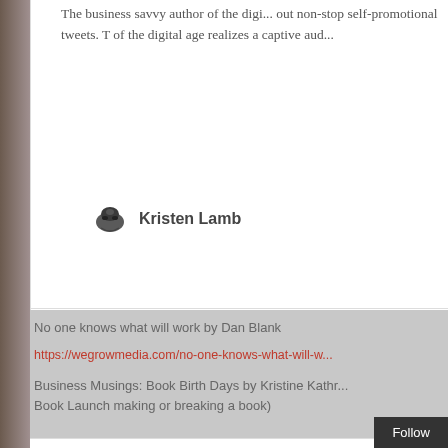The business savvy author of the digital age realizes a captive audience is not built by pumping out non-stop self-promotional tweets. The business savvy author of the digital age realizes a captive aud…
Kristen Lamb
No one knows what will work by Dan Blank
https://wegrowmedia.com/no-one-knows-what-will-w…
Business Musings: Book Birth Days by Kristine Kathr… Book Launch making or breaking a book)
Business Musings: Bo…
Recently, announce their book…
Follow